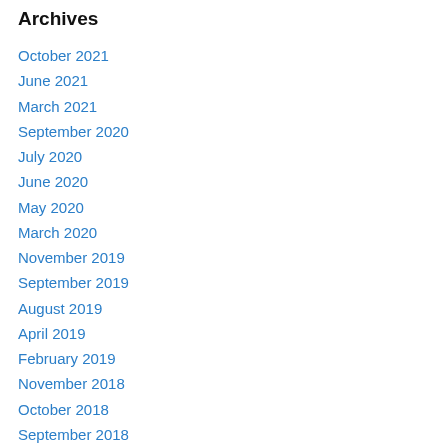Archives
October 2021
June 2021
March 2021
September 2020
July 2020
June 2020
May 2020
March 2020
November 2019
September 2019
August 2019
April 2019
February 2019
November 2018
October 2018
September 2018
July 2018
May 2018
April 2018